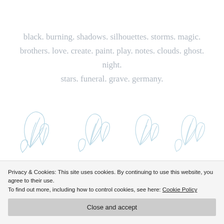black. burning. shadows. silhouettes. storms. magic. brothers. love. create. paint. play. notes. clouds. ghost. night. stars. funeral. grave. germany.
[Figure (illustration): Light blue outline drawings of feathers scattered horizontally across the page, appearing in groups of two or three, giving a decorative divider effect.]
4. Introduce us to each of your
Privacy & Cookies: This site uses cookies. By continuing to use this website, you agree to their use. To find out more, including how to control cookies, see here: Cookie Policy
WOW. UNRELIGINS EXPLEINNONS. However, I do have